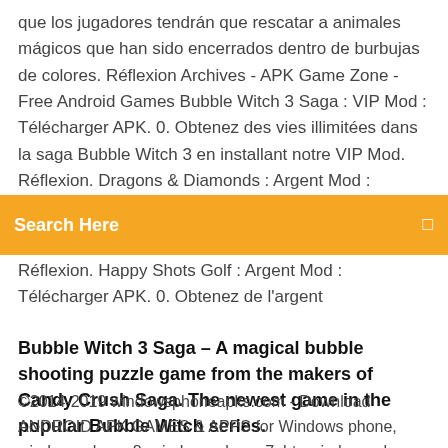que los jugadores tendrán que rescatar a animales mágicos que han sido encerrados dentro de burbujas de colores. Réflexion Archives - APK Game Zone - Free Android Games Bubble Witch 3 Saga : VIP Mod : Télécharger APK. 0. Obtenez des vies illimitées dans la saga Bubble Witch 3 en installant notre VIP Mod. Réflexion. Dragons & Diamonds : Argent Mod :
Search Here
Réflexion. Happy Shots Golf : Argent Mod : Télécharger APK. 0. Obtenez de l'argent
Bubble Witch 3 Saga – A magical bubble shooting puzzle game from the makers of Candy Crush Saga. The newest game in the popular Bubble Witch series.
©2014-2019 windowsphoneapks.com - Download ANDROID APK GAMES & APPS for Windows phone, windows phone 8, windows phone 7, htc windows phone. All contents belong to owners, distributed by Download Android APK GAMES & APPS